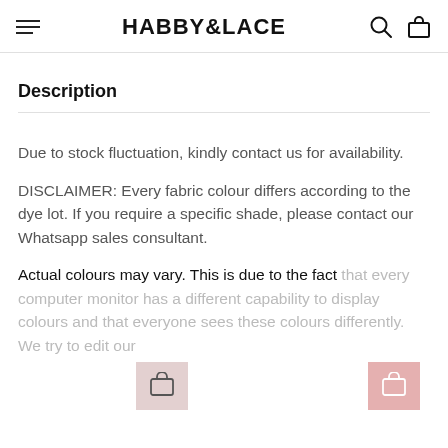HABBY&LACE
Description
Due to stock fluctuation, kindly contact us for availability.
DISCLAIMER: Every fabric colour differs according to the dye lot. If you require a specific shade, please contact our Whatsapp sales consultant.
Actual colours may vary. This is due to the fact that every computer monitor has a different capability to display colours and that everyone sees these colours differently. We try to edit our